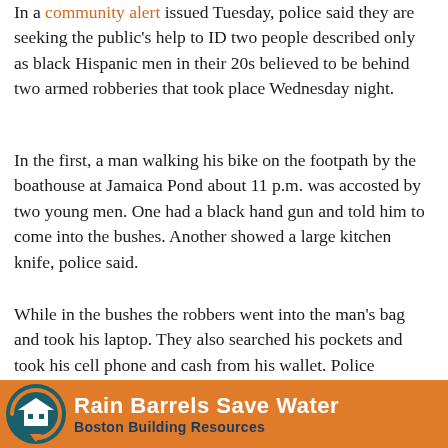In a community alert issued Tuesday, police said they are seeking the public's help to ID two people described only as black Hispanic men in their 20s believed to be behind two armed robberies that took place Wednesday night.
In the first, a man walking his bike on the footpath by the boathouse at Jamaica Pond about 11 p.m. was accosted by two young men. One had a black hand gun and told him to come into the bushes. Another showed a large kitchen knife, police said.
While in the bushes the robbers went into the man's bag and took his laptop. They also searched his pockets and took his cell phone and cash from his wallet. Police confirmed Tuesday a detail that was already circulating among community watch groups: the victim was left tied to a tree.
[Figure (infographic): Advertisement banner for Rain Barrels Save Water by Boston Building Resources, orange background with circular teal logo]